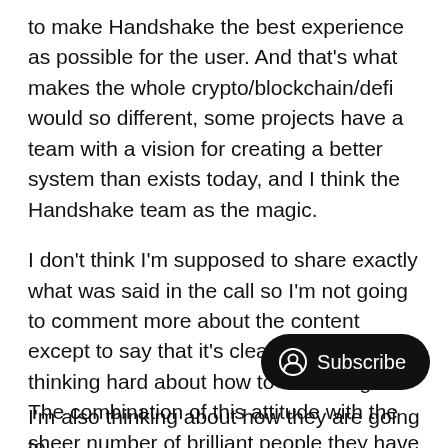to make Handshake the best experience as possible for the user. And that's what makes the whole crypto/blockchain/defi would so different, some projects have a team with a vision for creating a better system than exists today, and I think the Handshake team as the magic.
I don't think I'm supposed to share exactly what was said in the call so I'm not going to comment more about the content except to say that it's clear they're really thinking hard about how to do this right. The combination of this attitude with the sheer number of brilliant people they have behind the project makes me even more excited abo… Handshake.
I'm also thinking about how they are going to...